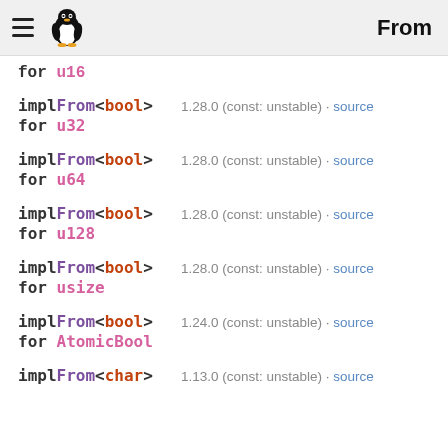From
for u16
impl From<bool> for u32  1.28.0 (const: unstable) · source
impl From<bool> for u64  1.28.0 (const: unstable) · source
impl From<bool> for u128  1.28.0 (const: unstable) · source
impl From<bool> for usize  1.28.0 (const: unstable) · source
impl From<bool> for AtomicBool  1.24.0 (const: unstable) · source
impl From<char>  1.13.0 (const: unstable) · source